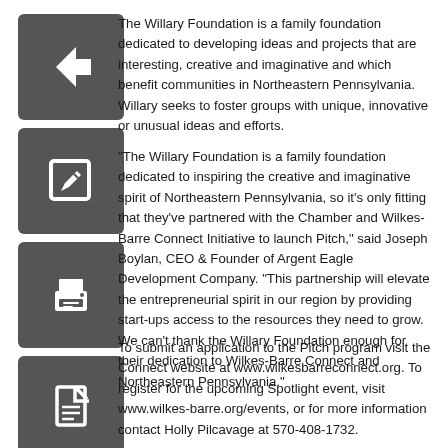[Figure (illustration): Dark grey square icon with white left-arrow symbol]
[Figure (illustration): Dark grey square icon with white edit/pencil symbol]
[Figure (illustration): Dark grey square icon with white printer symbol]
[Figure (illustration): Dark grey square icon with white PDF/document symbol]
The Willary Foundation is a family foundation dedicated to developing ideas and projects that are interesting, creative and imaginative and which benefit communities in Northeastern Pennsylvania. Willary seeks to foster groups with unique, innovative or unusual ideas and efforts.
"The Willary Foundation is a family foundation dedicated to inspiring the creative and imaginative spirit of Northeastern Pennsylvania, so it’s only fitting that they’ve partnered with the Chamber and Wilkes-Barre Connect Initiative to launch Pitch," said Joseph Boylan, CEO & Founder of Argent Eagle Development Company. “This partnership will elevate the entrepreneurial spirit in our region by providing start-ups access to the resources they need to grow. We can’t thank the Willary Foundation enough for their dedication to Wilkes-Barre Connect and Northeastern Pennsylvania.”
To submit an application to the Pitch program visit the Connect website at www.wilkesbarreconnect.org. To register for the upcoming Spotlight event, visit www.wilkes-barre.org/events, or for more information contact Holly Pilcavage at 570-408-1732.